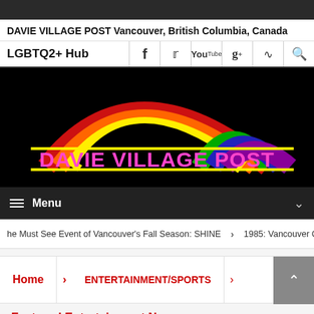DAVIE VILLAGE POST Vancouver, British Columbia, Canada
LGBTQ2+ Hub
[Figure (logo): Davie Village Post logo with rainbow arch over black background and pink text reading DAVIE VILLAGE POST with yellow horizontal lines above and below]
Menu
The Must See Event of Vancouver's Fall Season: SHINE  ›  1985: Vancouver Queer F
Home  ›  ENTERTAINMENT/SPORTS
Featured Entertainment News